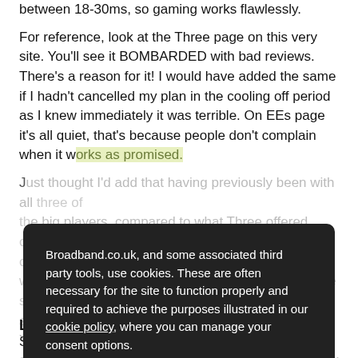between 18-30ms, so gaming works flawlessly.
For reference, look at the Three page on this very site. You'll see it BOMBARDED with bad reviews. There's a reason for it! I would have added the same if I hadn't cancelled my plan in the cooling off period as I knew immediately it was terrible. On EEs page it's all quiet, that's because people don't complain when it works as promised.
Just thought I'd add that having previously been with all three of the big players, compared to what Three offered, choosing EE was definitely the right call. I really wanted to save money but I'd just end up paying more in coffee shop bills acknowledging the hopeless speeds of Three. Happy with EE
Broadband.co.uk, and some associated third party tools, use cookies. These are often necessary for the site to function properly and required to achieve the purposes illustrated in our cookie policy, where you can manage your consent options.

By clicking "OK", closing this banner, clicking a link or continuing to browse otherwise, you agree to the use of cookies.
Read our privacy policy
OK
Location
Scottish Borders